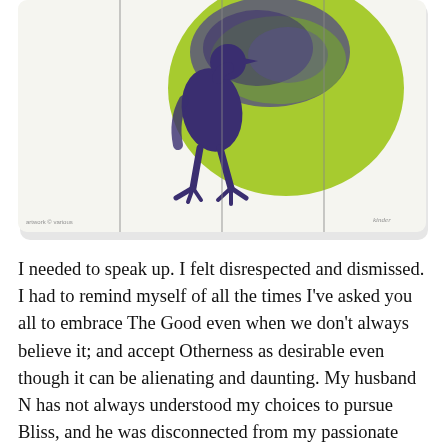[Figure (illustration): An artwork showing a large chartreuse/yellow-green circular form with a dark blue-purple bird (possibly an emu or cassowary) standing in front of it, rendered on what appears to be a paneled white canvas or board. The panels have vertical dividing lines. Small text and a signature are visible at bottom corners.]
I needed to speak up. I felt disrespected and dismissed. I had to remind myself of all the times I've asked you all to embrace The Good even when we don't always believe it; and accept Otherness as desirable even though it can be alienating and daunting. My husband  N has not always understood my choices to pursue Bliss, and he was disconnected from my passionate involvement with Musings. He did not understand my essential drive behind seeking a peaceful coexistence for Otherness, (though he is an Other. But this conflict didn't cause the devastation I...